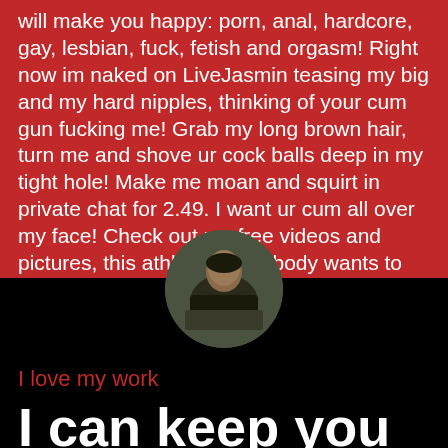will make you happy: porn, anal, hardcore, gay, lesbian, fuck, fetish and orgasm! Right now im naked on LiveJasmin teasing my big and my hard nipples, thinking of your cum gun fucking me! Grab my long brown hair, turn me and shove ur cock balls deep in my tight hole! Make me moan and squirt in private chat for 2.49. I want ur cum all over my face! Check out my free videos and pictures, this athletic horny body wants to make you cum in sex chat vip show!
[Figure (photo): Circular profile photo of a woman in a dark outfit posing outdoors on rocks or logs]
I love my work
I can keep you